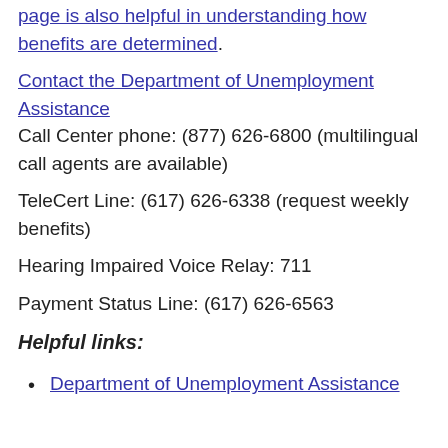page is also helpful in understanding how benefits are determined.
Contact the Department of Unemployment Assistance
Call Center phone: (877) 626-6800 (multilingual call agents are available)
TeleCert Line: (617) 626-6338 (request weekly benefits)
Hearing Impaired Voice Relay: 711
Payment Status Line: (617) 626-6563
Helpful links:
Department of Unemployment Assistance